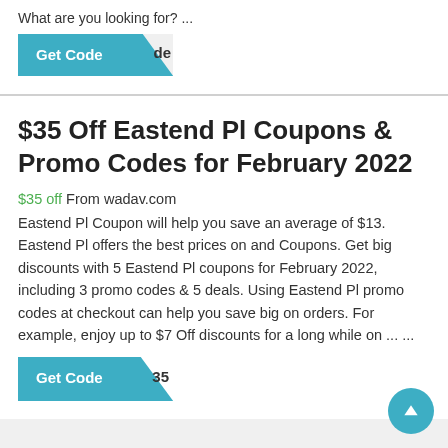What are you looking for? ...
[Figure (other): Get Code button with diagonal cut corner revealing partial text]
$35 Off Eastend Pl Coupons & Promo Codes for February 2022
$35 off From wadav.com
Eastend Pl Coupon will help you save an average of $13. Eastend Pl offers the best prices on and Coupons. Get big discounts with 5 Eastend Pl coupons for February 2022, including 3 promo codes & 5 deals. Using Eastend Pl promo codes at checkout can help you save big on orders. For example, enjoy up to $7 Off discounts for a long while on ... ...
[Figure (other): Get Code button with diagonal cut corner revealing $35 text]